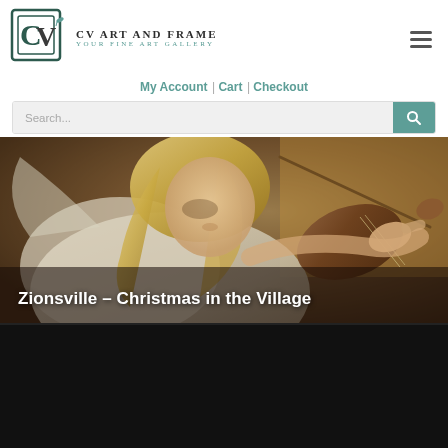[Figure (logo): CV Art and Frame logo with stylized CV letters in a frame, teal and dark green]
CV Art and Frame
Your Fine Art Gallery
My Account | Cart | Checkout
[Figure (screenshot): Search bar with placeholder 'Search...' and teal search button with magnifying glass icon]
[Figure (photo): Painting of an angel playing violin, warm golden-brown tones, angel in white robes with blonde hair]
Zionsville – Christmas in the Village
[Figure (photo): Black/dark image at the bottom of the page, mostly black]